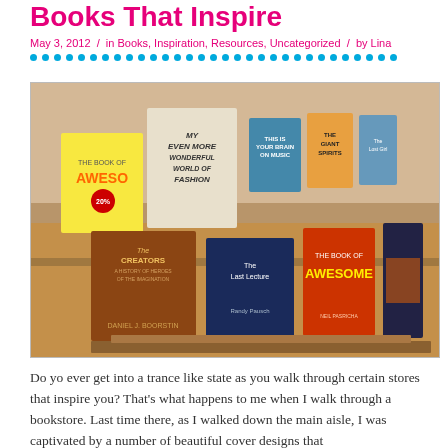Books That Inspire
May 3, 2012  /  in Books, Inspiration, Resources, Uncategorized  /  by Lina
[Figure (photo): A table display of various books at a bookstore, including titles such as 'My Even More Wonderful World of Fashion', 'The Creators' by Daniel Boorstin, 'The Last Lecture' by Randy Pausch, 'The Book of Awesome', 'This Is Your Brain on Music', 'The Giant Spirits', and others.]
Do yo ever get into a trance like state as you walk through certain stores that inspire you? That’s what happens to me when I walk through a bookstore. Last time there, as I walked down the main aisle, I was captivated by a number of beautiful cover designs that